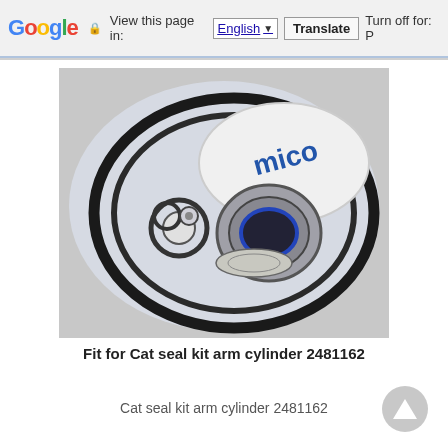Google  View this page in: English [▼]  Translate  Turn off for: P
[Figure (photo): Seal kit for Cat arm cylinder 2481162, showing O-rings and seals in a clear plastic bag with a Mico branded label, photographed on a light background.]
Fit for Cat seal kit arm cylinder 2481162
Cat seal kit arm cylinder 2481162